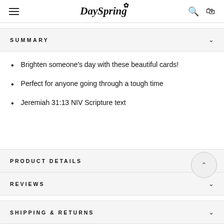DaySpring
SUMMARY
Brighten someone's day with these beautiful cards!
Perfect for anyone going through a tough time
Jeremiah 31:13 NIV Scripture text
PRODUCT DETAILS
REVIEWS
SHIPPING & RETURNS